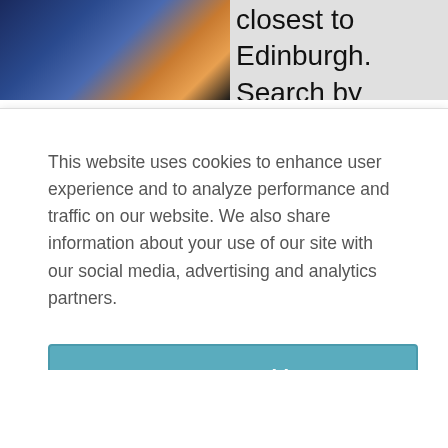[Figure (screenshot): Background website showing Edinburgh city photo on the left and partial text 'closest to Edinburgh. Search by review ratings' on the right]
This website uses cookies to enhance user experience and to analyze performance and traffic on our website. We also share information about your use of our site with our social media, advertising and analytics partners.
Accept Cookies
Cookie Preferences